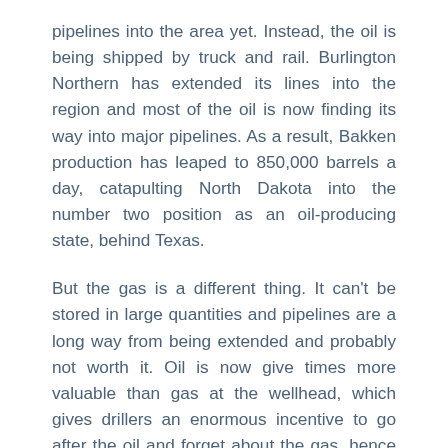pipelines into the area yet. Instead, the oil is being shipped by truck and rail. Burlington Northern has extended its lines into the region and most of the oil is now finding its way into major pipelines. As a result, Bakken production has leaped to 850,000 barrels a day, catapulting North Dakota into the number two position as an oil-producing state, behind Texas.
But the gas is a different thing. It can't be stored in large quantities and pipelines are a long way from being extended and probably not worth it. Oil is now give times more valuable than gas at the wellhead, which gives drillers an enormous incentive to go after the oil and forget about the gas, hence the flaring. Thanks largely to North Dakota, we have moved into fifth place for flaring, behind Russia, Nigeria, Iran and Iraq, and ahead of